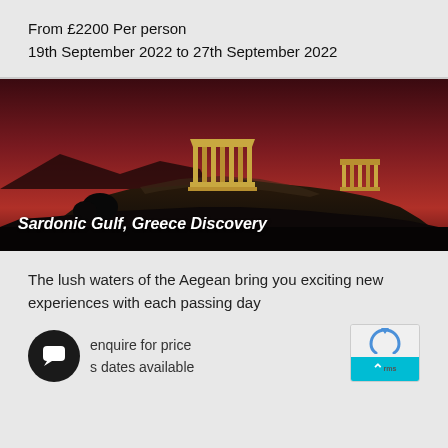From £2200 Per person
19th September 2022 to 27th September 2022
[Figure (photo): Nighttime photo of the Acropolis of Athens illuminated against a deep red/purple dusk sky, with rocky hillside in foreground]
Sardonic Gulf, Greece Discovery
The lush waters of the Aegean bring you exciting new experiences with each passing day
enquire for price
s dates available